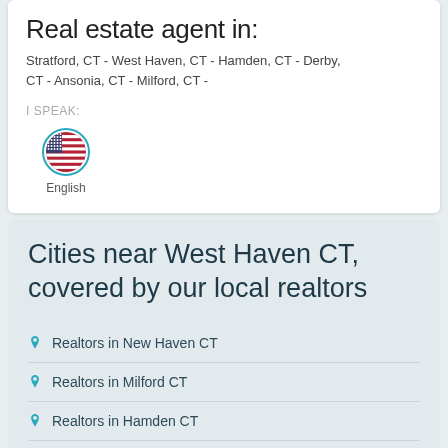Real estate agent in:
Stratford, CT - West Haven, CT - Hamden, CT - Derby, CT - Ansonia, CT - Milford, CT -
I SPEAK:
[Figure (illustration): US flag emoji circle with teal border representing English language]
English
Cities near West Haven CT, covered by our local realtors
Realtors in New Haven CT
Realtors in Milford CT
Realtors in Hamden CT
Realtors in Derby CT